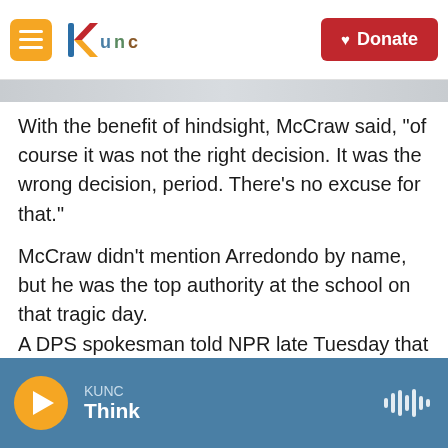KUNC — Donate
With the benefit of hindsight, McCraw said, "of course it was not the right decision. It was the wrong decision, period. There's no excuse for that."
McCraw didn't mention Arredondo by name, but he was the top authority at the school on that tragic day.
A DPS spokesman told NPR late Tuesday that Arredondo "has yet to respond to the Rangers' request for a follow up interview that was made a couple of days ago."
KUNC Think